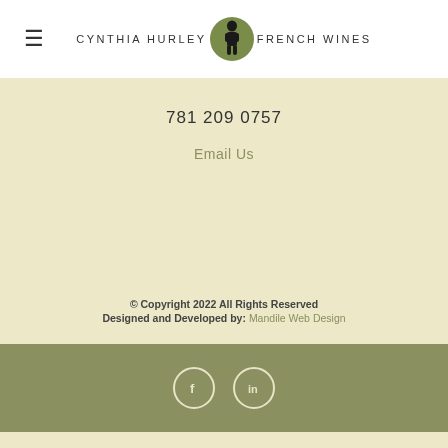≡  CYNTHIA HURLEY [logo] FRENCH WINES
781 209 0757
Email Us
© Copyright 2022 All Rights Reserved
Designed and Developed by: Mandile Web Design
[Figure (other): Social media icons: Facebook (f) and LinkedIn (in) circles on olive green background]